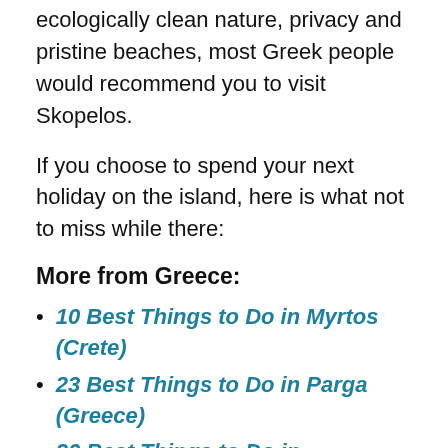ecologically clean nature, privacy and pristine beaches, most Greek people would recommend you to visit Skopelos.
If you choose to spend your next holiday on the island, here is what not to miss while there:
More from Greece:
10 Best Things to Do in Myrtos (Crete)
23 Best Things to Do in Parga (Greece)
30 Best Things to Do in Thessaloniki (Greece)
1. Spend a day at